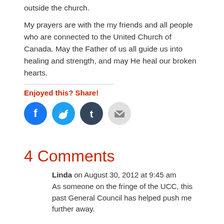outside the church.
My prayers are with the my friends and all people who are connected to the United Church of Canada. May the Father of us all guide us into healing and strength, and may He heal our broken hearts.
Enjoyed this? Share!
[Figure (infographic): Social sharing icons: Facebook (blue), Twitter (light blue), Tumblr (dark blue), Email (light grey)]
4 Comments
Linda on August 30, 2012 at 9:45 am
As someone on the fringe of the UCC, this past General Council has helped push me further away.